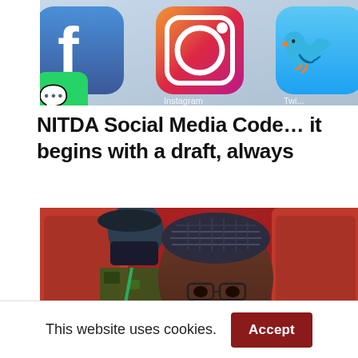[Figure (photo): Smartphone screen showing social media app icons: Facebook, Instagram, Twitter/Twitter bird icon, and a green messaging app icon]
NITDA Social Media Code… it begins with a draft, always
[Figure (photo): A man wearing a traditional Nigerian cap (kufi) and glasses, seated in a red chair, with another person in military camouflage and a face mask visible behind him]
This website uses cookies.
Accept